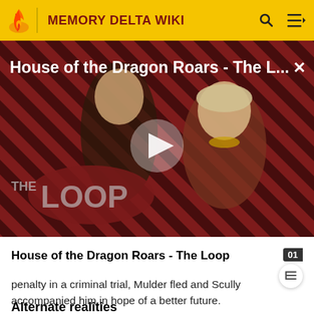MEMORY DELTA WIKI
[Figure (screenshot): Video thumbnail for 'House of the Dragon Roars - The Loop' showing two characters against a diagonal striped red and black background with a play button in the center and 'THE LOOP' badge at the bottom left]
House of the Dragon Roars - The Loop
penalty in a criminal trial, Mulder fled and Scully accompanied him in hope of a better future.
Alternate realities